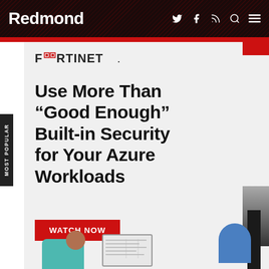Redmond
[Figure (logo): Fortinet logo with stylized squares in the letters]
Use More Than “Good Enough” Built-in Security for Your Azure Workloads
WATCH NOW
[Figure (illustration): Abstract decorative graphic with blue arch, dark column, and gradient column shapes]
[Figure (illustration): Bottom illustration showing teal shape, person silhouette, and computer screen]
MOST POPULAR